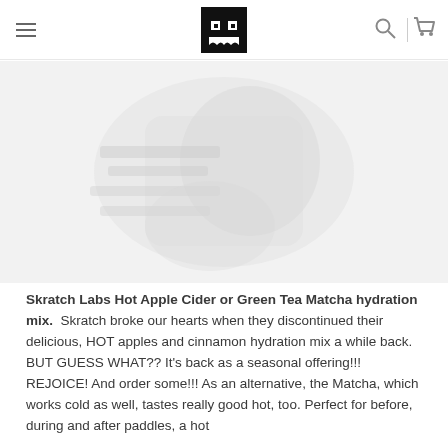Navigation bar with menu icon, logo, search icon, and cart icon
[Figure (photo): Product image of Skratch Labs hydration mix packaging with faded/watermarked background showing the product]
Skratch Labs Hot Apple Cider or Green Tea Matcha hydration mix. Skratch broke our hearts when they discontinued their delicious, HOT apples and cinnamon hydration mix a while back. BUT GUESS WHAT?? It's back as a seasonal offering!!! REJOICE! And order some!!! As an alternative, the Matcha, which works cold as well, tastes really good hot, too. Perfect for before, during and after paddles, a hot